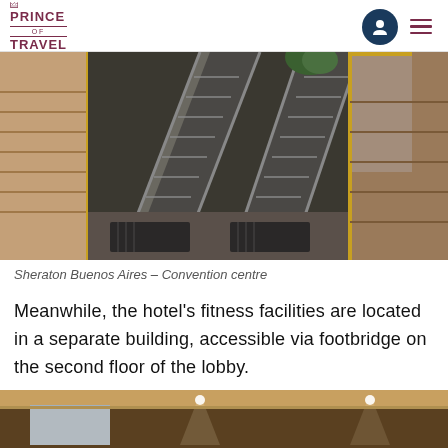PRINCE OF TRAVEL
[Figure (photo): Interior of Sheraton Buenos Aires convention centre showing multiple escalators and staircases in a modern lobby area]
Sheraton Buenos Aires – Convention centre
Meanwhile, the hotel's fitness facilities are located in a separate building, accessible via footbridge on the second floor of the lobby.
[Figure (photo): Interior room with warm lighting and ceiling spotlights, partially visible]